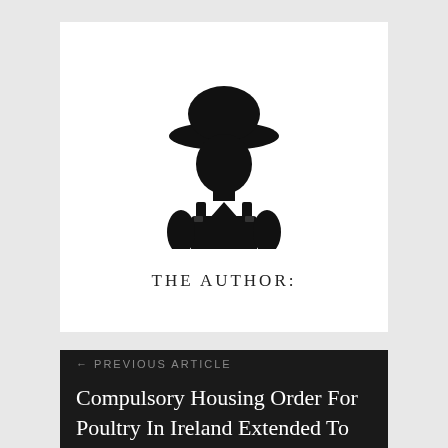[Figure (illustration): Black silhouette icon of a farmer wearing a wide-brimmed hat and overalls]
THE AUTHOR:
← PREVIOUS ARTICLE
Compulsory Housing Order For Poultry In Ireland Extended To April 30
NEXT ARTICLE →